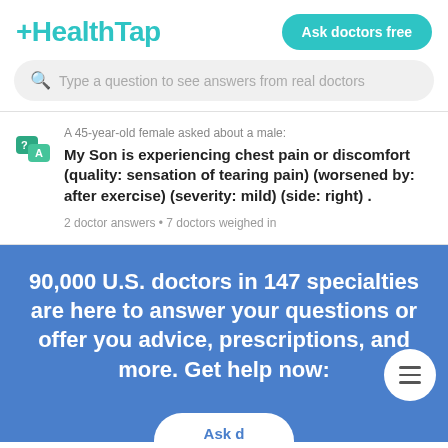[Figure (logo): HealthTap logo with teal/cyan color and plus sign prefix]
Ask doctors free
Type a question to see answers from real doctors
A 45-year-old female asked about a male:
My Son is experiencing chest pain or discomfort (quality: sensation of tearing pain) (worsened by: after exercise) (severity: mild) (side: right) .
2 doctor answers • 7 doctors weighed in
90,000 U.S. doctors in 147 specialties are here to answer your questions or offer you advice, prescriptions, and more. Get help now: